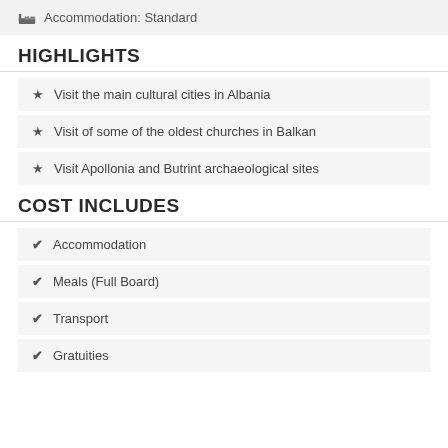Accommodation: Standard
HIGHLIGHTS
Visit the main cultural cities in Albania
Visit of some of the oldest churches in Balkan
Visit Apollonia and Butrint archaeological sites
COST INCLUDES
Accommodation
Meals (Full Board)
Transport
Gratuities